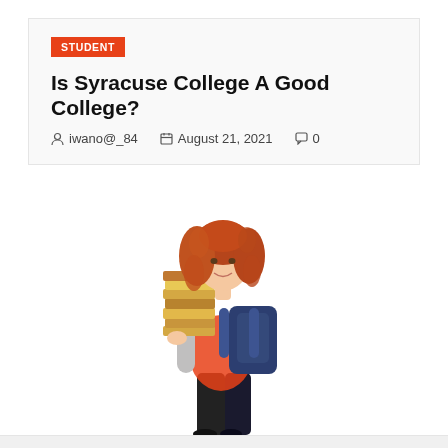STUDENT
Is Syracuse College A Good College?
iwano@_84   August 21, 2021   0
[Figure (photo): A smiling young woman with curly red hair, wearing a pink top and grey long-sleeve shirt, carrying a large stack of books while wearing a navy blue backpack. White background, full body shot.]